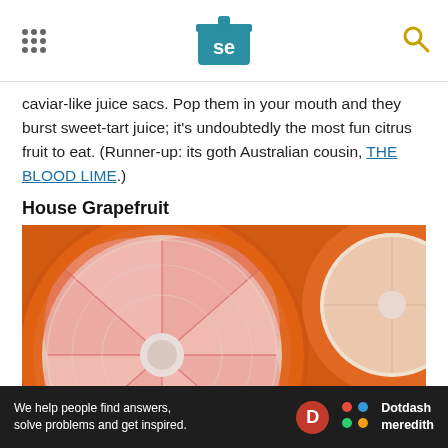Serious Eats header with logo and navigation
caviar-like juice sacs. Pop them in your mouth and they burst sweet-tart juice; it's undoubtedly the most fun citrus fruit to eat. (Runner-up: its goth Australian cousin, THE BLOOD LIME.)
House Grapefruit
[Figure (photo): Close-up photo of a halved grapefruit showing the pink/red interior with juice sacs, with another grapefruit half in the background]
Ad
We help people find answers, solve problems and get inspired. Dotdash meredith